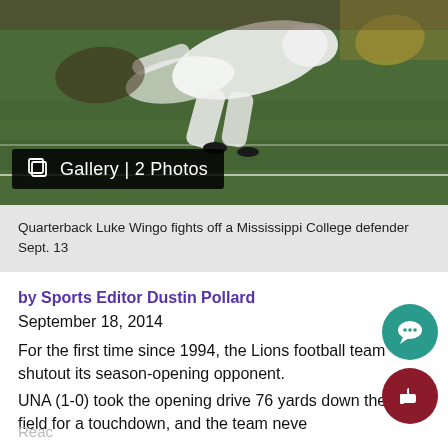[Figure (photo): Football player in white uniform (quarterback Luke Wingo) fighting off a Mississippi College defender during a night game on a green field, Sept. 13.]
Quarterback Luke Wingo fights off a Mississippi College defender Sept. 13
by Sports Editor Dustin Pollard
September 18, 2014
For the first time since 1994, the Lions football team shutout its season-opening opponent.
UNA (1-0) took the opening drive 76 yards down the field for a touchdown, and the team never looked back, leading to a 58-0 romp against Mississippi College.
The Lions dominated on both sides of the ball